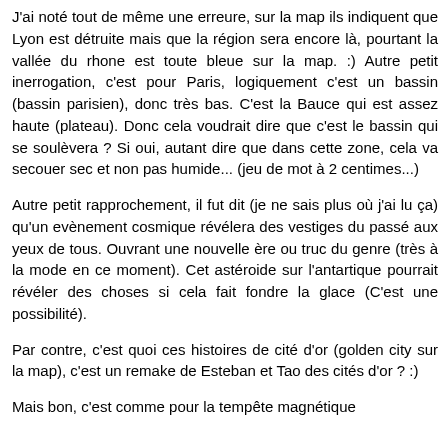J'ai noté tout de même une erreure, sur la map ils indiquent que Lyon est détruite mais que la région sera encore là, pourtant la vallée du rhone est toute bleue sur la map. :) Autre petit inerrogation, c'est pour Paris, logiquement c'est un bassin (bassin parisien), donc très bas. C'est la Bauce qui est assez haute (plateau). Donc cela voudrait dire que c'est le bassin qui se soulèvera ? Si oui, autant dire que dans cette zone, cela va secouer sec et non pas humide... (jeu de mot à 2 centimes...)
Autre petit rapprochement, il fut dit (je ne sais plus où j'ai lu ça) qu'un evènement cosmique révélera des vestiges du passé aux yeux de tous. Ouvrant une nouvelle ère ou truc du genre (très à la mode en ce moment). Cet astéroide sur l'antartique pourrait révéler des choses si cela fait fondre la glace (C'est une possibilité).
Par contre, c'est quoi ces histoires de cité d'or (golden city sur la map), c'est un remake de Esteban et Tao des cités d'or ? :)
Mais bon, c'est comme pour la tempête magnétique